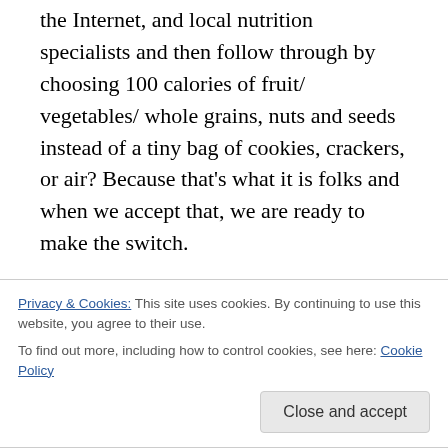the Internet, and local nutrition specialists and then follow through by choosing 100 calories of fruit/ vegetables/ whole grains, nuts and seeds instead of a tiny bag of cookies, crackers, or air?  Because that's what it is folks and when we accept that, we are ready to make the switch.
Here are some examples the Mayo Clinic gives for 100 calorie snacks:
1 cup sliced bananas and fresh raspberries
2 cups of carrots
Privacy & Cookies: This site uses cookies. By continuing to use this website, you agree to their use.
To find out more, including how to control cookies, see here: Cookie Policy
cheese